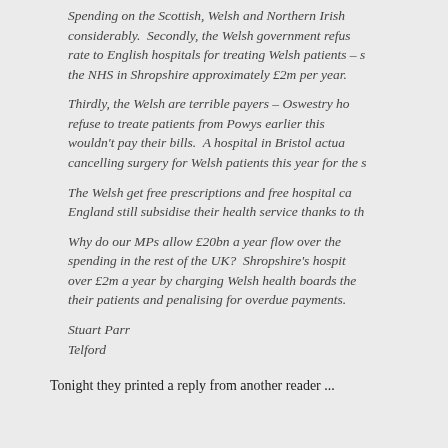Spending on the Scottish, Welsh and Northern Irish considerably.  Secondly, the Welsh government refuse rate to English hospitals for treating Welsh patients – s the NHS in Shropshire approximately £2m per year.
Thirdly, the Welsh are terrible payers – Oswestry ho refuse to treate patients from Powys earlier this wouldn't pay their bills.  A hospital in Bristol actua cancelling surgery for Welsh patients this year for the s
The Welsh get free prescriptions and free hospital ca England still subsidise their health service thanks to th
Why do our MPs allow £20bn a year flow over the spending in the rest of the UK?  Shropshire's hospit over £2m a year by charging Welsh health boards the their patients and penalising for overdue payments.
Stuart Parr
Telford
Tonight they printed a reply from another reader ...